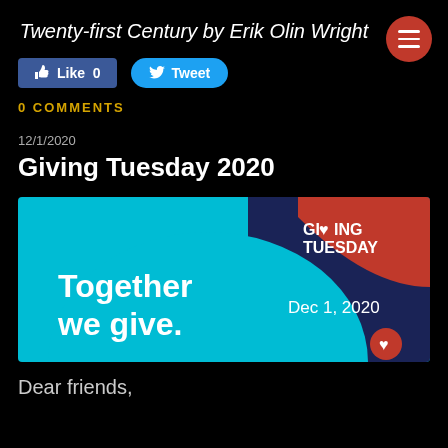Twenty-first Century by Erik Olin Wright
[Figure (other): Social media buttons: Like 0 (Facebook blue) and Tweet (Twitter blue)]
0 COMMENTS
12/1/2020
Giving Tuesday 2020
[Figure (illustration): Giving Tuesday 2020 banner: teal background with 'Together we give.' text on left, dark navy and red sections on right with 'GIVING TUESDAY' logo and 'Dec 1, 2020' date]
Dear friends,